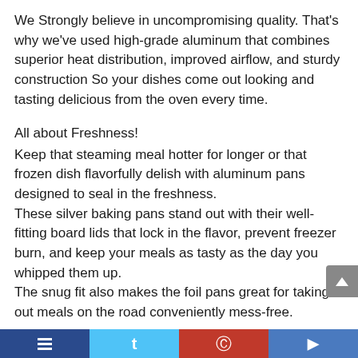We Strongly believe in uncompromising quality. That's why we've used high-grade aluminum that combines superior heat distribution, improved airflow, and sturdy construction So your dishes come out looking and tasting delicious from the oven every time.
All about Freshness!
Keep that steaming meal hotter for longer or that frozen dish flavorfully delish with aluminum pans designed to seal in the freshness.
These silver baking pans stand out with their well-fitting board lids that lock in the flavor, prevent freezer burn, and keep your meals as tasty as the day you whipped them up.
The snug fit also makes the foil pans great for taking out meals on the road conveniently mess-free.
[social media navigation bar]